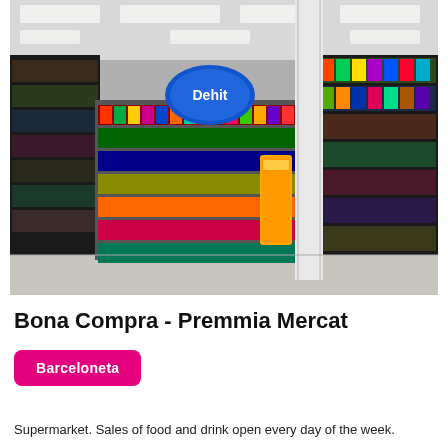[Figure (photo): Interior of a supermarket showing shelves stocked with food and drink products. In the center is a display stand with a blue circular sign. To the right is a white pillar and more shelving with colorful products. The store has fluorescent ceiling lighting.]
Bona Compra - Premmia Mercat
Barceloneta
Supermarket. Sales of food and drink open every day of the week.